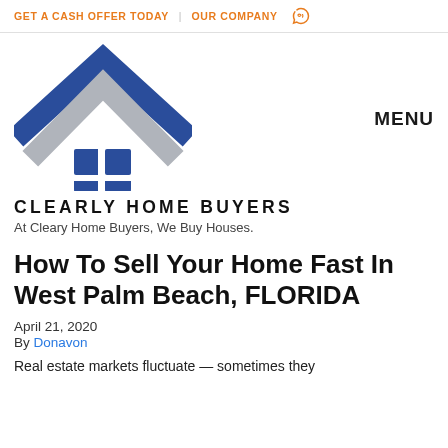GET A CASH OFFER TODAY   OUR COMPANY
[Figure (logo): Clearly Home Buyers logo: blue and grey chevron roof shapes above a blue cross/shield emblem]
CLEARLY HOME BUYERS
At Cleary Home Buyers, We Buy Houses.
How To Sell Your Home Fast In West Palm Beach, FLORIDA
April 21, 2020
By Donavon
Real estate markets fluctuate — sometimes they